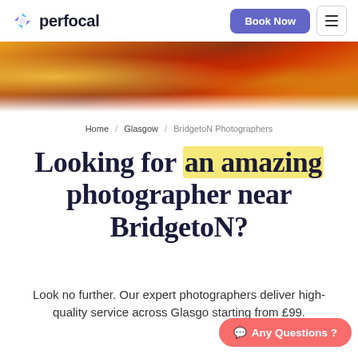perfocal | Book Now | Menu
[Figure (photo): Close-up photo of food items including sausages/hot dogs with condiments like ketchup and mustard, warm orange-brown tones]
Home / Glasgow / BridgetoN Photographers
Looking for an amazing photographer near BridgetoN?
Look no further. Our expert photographers deliver high-quality service across Glasgow starting from £99.